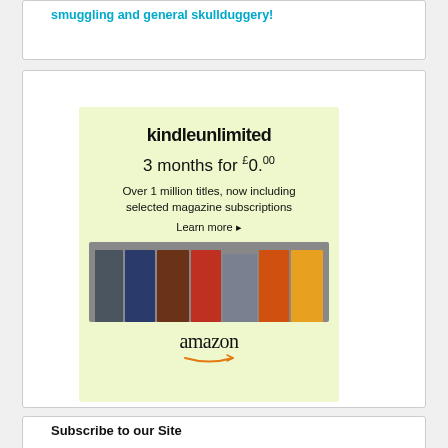smuggling and general skullduggery!
[Figure (illustration): Amazon Kindle Unlimited advertisement banner. Light green background with text: kindleunlimited, 3 months for £0.00, Over 1 million titles, now including selected magazine subscriptions, Learn more ▸. Shows book covers and magazine covers at bottom. Amazon logo with arrow at bottom.]
Subscribe to our Site